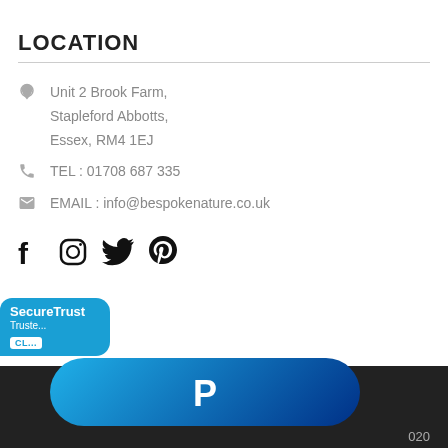LOCATION
Unit 2 Brook Farm,
Stapleford Abbotts,
Essex, RM4 1EJ
TEL : 01708 687 335
EMAIL : info@bespokenature.co.uk
[Figure (illustration): Social media icons: Facebook, Instagram, Twitter, Pinterest]
[Figure (logo): SecureTrust Trusted badge with CL button]
[Figure (logo): PayPal button — blue rounded pill with white P logo]
020